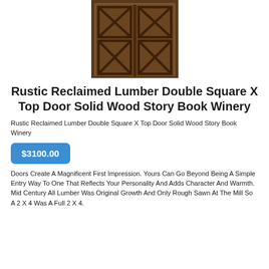[Figure (photo): Double rustic reclaimed lumber barn doors with square X top design, dark brown wood finish, double door configuration]
Rustic Reclaimed Lumber Double Square X Top Door Solid Wood Story Book Winery
Rustic Reclaimed Lumber Double Square X Top Door Solid Wood Story Book Winery
$3100.00
Doors Create A Magnificent First Impression. Yours Can Go Beyond Being A Simple Entry Way To One That Reflects Your Personality And Adds Character And Warmth. Mid Century All Lumber Was Original Growth And Only Rough Sawn At The Mill So A 2 X 4 Was A Full 2 X 4.